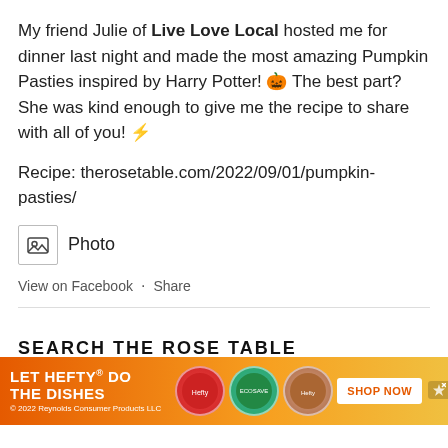My friend Julie of Live Love Local hosted me for dinner last night and made the most amazing Pumpkin Pasties inspired by Harry Potter! 🎃 The best part? She was kind enough to give me the recipe to share with all of you! ⚡
Recipe: therosetable.com/2022/09/01/pumpkin-pasties/
[Figure (other): Photo icon with image placeholder and 'Photo' label]
View on Facebook · Share
SEARCH THE ROSE TABLE
Search ...
[Figure (other): Advertisement banner: LET HEFTY DO THE DISHES with product images and SHOP NOW button]